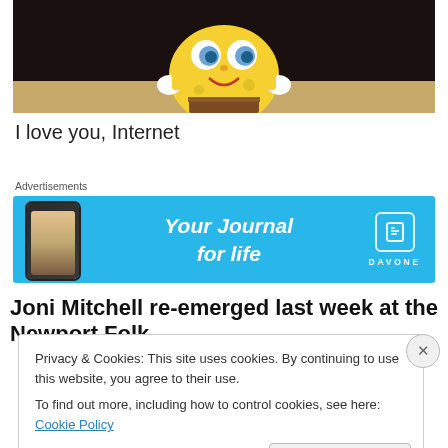[Figure (photo): Cropped image of SpongeBob SquarePants cartoon character against a dark background with tan/beige lower section]
I love you, Internet
Advertisements
[Figure (infographic): Day One app advertisement banner: light blue background with phone mockup on left, 'Your Journal for life' text in white italic bold, Day One logo icon and wordmark on right]
Joni Mitchell re-emerged last week at the Newport Folk
Privacy & Cookies: This site uses cookies. By continuing to use this website, you agree to their use.
To find out more, including how to control cookies, see here: Cookie Policy
Close and accept